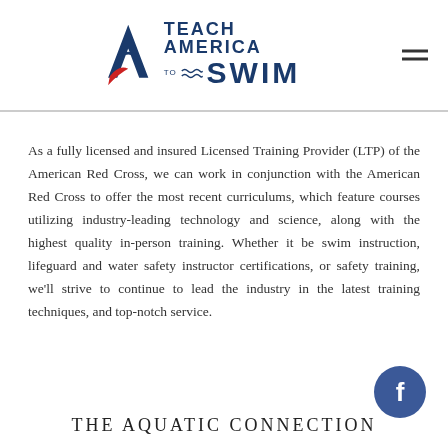[Figure (logo): Teach America to Swim logo with stylized letter A in navy and red, wavy lines, and bold text reading TEACH AMERICA TO SWIM]
As a fully licensed and insured Licensed Training Provider (LTP) of the American Red Cross, we can work in conjunction with the American Red Cross to offer the most recent curriculums, which feature courses utilizing industry-leading technology and science, along with the highest quality in-person training. Whether it be swim instruction, lifeguard and water safety instructor certifications, or safety training, we'll strive to continue to lead the industry in the latest training techniques, and top-notch service.
[Figure (logo): Facebook circular button icon in dark blue with white f letter]
THE AQUATIC CONNECTION